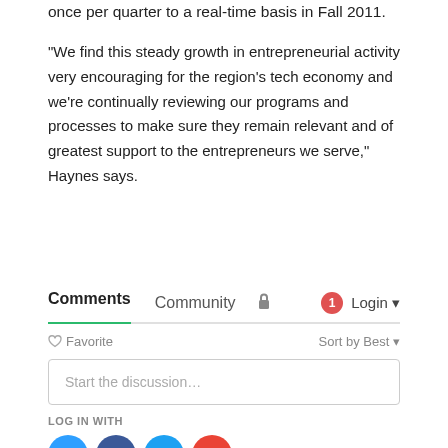once per quarter to a real-time basis in Fall 2011.
“We find this steady growth in entrepreneurial activity very encouraging for the region’s tech economy and we’re continually reviewing our programs and processes to make sure they remain relevant and of greatest support to the entrepreneurs we serve,” Haynes says.
Comments  Community  🔒  1  Login
♥ Favorite  Sort by Best
Start the discussion…
LOG IN WITH
[Figure (other): Social login icons: Disqus (blue), Facebook (dark blue), Twitter (light blue), Google (red)]